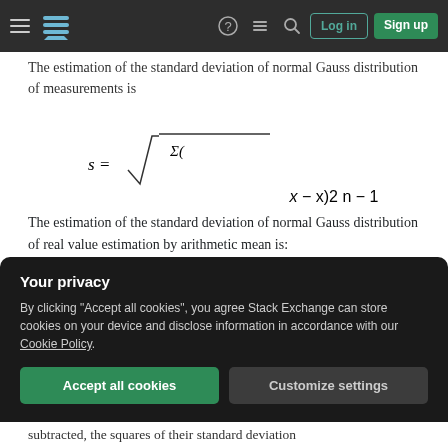Stack Exchange navigation bar with hamburger menu, logo, help icon, site switcher icon, search icon, Log in button, Sign up button
The estimation of the standard deviation of normal Gauss distribution of measurements is
The estimation of the standard deviation of normal Gauss distribution of real value estimation by arithmetic mean is:
Your privacy
By clicking "Accept all cookies", you agree Stack Exchange can store cookies on your device and disclose information in accordance with our Cookie Policy.
subtracted, the squares of their standard deviation